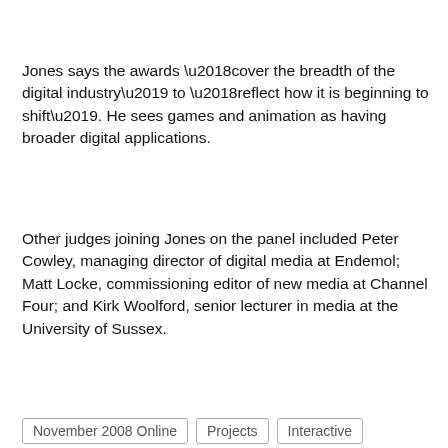Jones says the awards ‘cover the breadth of the digital industry’ to ‘reflect how it is beginning to shift’. He sees games and animation as having broader digital applications.
Other judges joining Jones on the panel included Peter Cowley, managing director of digital media at Endemol; Matt Locke, commissioning editor of new media at Channel Four; and Kirk Woolford, senior lecturer in media at the University of Sussex.
November 2008 Online   Projects   Interactive